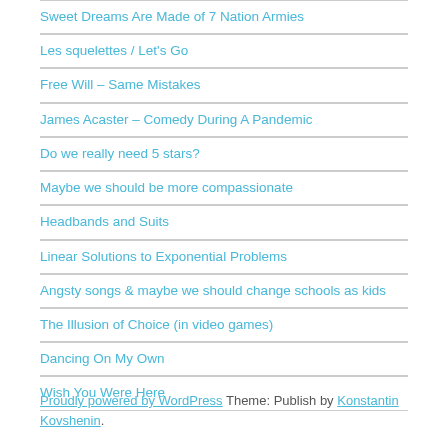Sweet Dreams Are Made of 7 Nation Armies
Les squelettes / Let's Go
Free Will – Same Mistakes
James Acaster – Comedy During A Pandemic
Do we really need 5 stars?
Maybe we should be more compassionate
Headbands and Suits
Linear Solutions to Exponential Problems
Angsty songs & maybe we should change schools as kids
The Illusion of Choice (in video games)
Dancing On My Own
Wish You Were Here
Proudly powered by WordPress Theme: Publish by Konstantin Kovshenin.